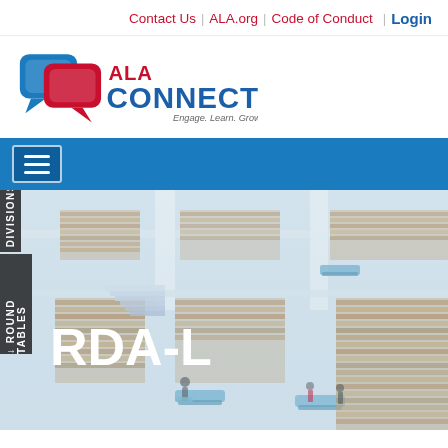Contact Us | ALA.org | Code of Conduct | Login
[Figure (logo): ALA Connect logo with chat bubble icons and tagline 'Engage. Learn. Grow.']
[Figure (screenshot): Blue navigation bar with hamburger menu button]
[Figure (photo): Interior of a large modern library with multiple floors of bookshelves and reading areas. Text overlay: RDA-L. Side tabs: DIVISIONS and ROUND TABLES]
RDA-L